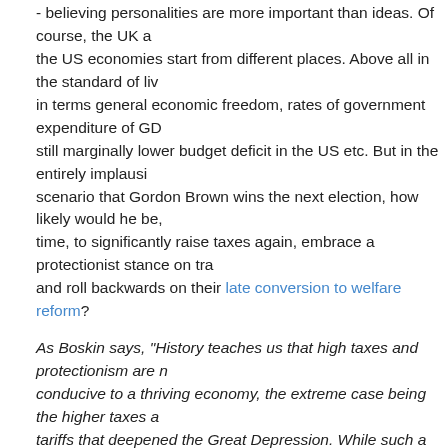- believing personalities are more important than ideas. Of course, the UK and the US economies start from different places. Above all in the standard of living, in terms general economic freedom, rates of government expenditure of GDP, still marginally lower budget deficit in the US etc. But in the entirely implausible scenario that Gordon Brown wins the next election, how likely would he be, this time, to significantly raise taxes again, embrace a protectionist stance on trade and roll backwards on their late conversion to welfare reform?
As Boskin says, "History teaches us that high taxes and protectionism are not conducive to a thriving economy, the extreme case being the higher taxes and tariffs that deepened the Great Depression. While such a policy mix would be real change, as philosophers remind us, change is not always progress".
Posted by Dan Lewis at 11:03 | Permalink | Comments (9)
Should Conservatives prepare to oppose a Miliband government?
Yesterday, in The Daily Mail, James Chapman appeared to suggest that Labour plans were afoot to force Gordon Brown to quit which could be followed by a subsequent leadership contest, in which the Foreign Secretary Mr Miliband could run for Prime Minister with Health Secretary Mr Johnson as his deputy. I agree with his analysis. (The Times has just caught up with the story and Miliband